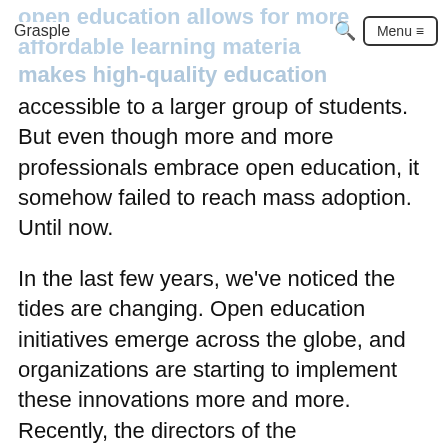Grasple | Menu
makes high-quality education accessible to a larger group of students. But even though more and more professionals embrace open education, it somehow failed to reach mass adoption. Until now.
In the last few years, we've noticed the tides are changing. Open education initiatives emerge across the globe, and organizations are starting to implement these innovations more and more. Recently, the directors of the